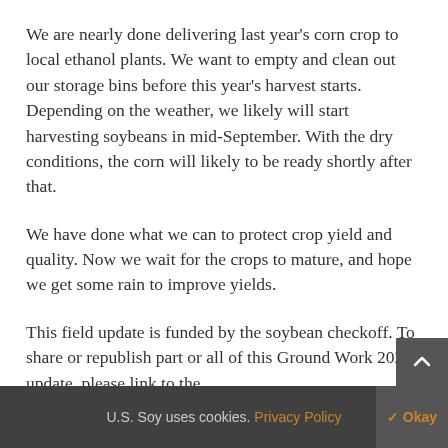We are nearly done delivering last year's corn crop to local ethanol plants. We want to empty and clean out our storage bins before this year's harvest starts. Depending on the weather, we likely will start harvesting soybeans in mid-September. With the dry conditions, the corn will likely to be ready shortly after that.
We have done what we can to protect crop yield and quality. Now we wait for the crops to mature, and hope we get some rain to improve yields.
This field update is funded by the soybean checkoff. To share or republish part or all of this Ground Work 2021 update, please link to the
U.S. Soy uses cookies. Privacy Policy  ✓ Okay